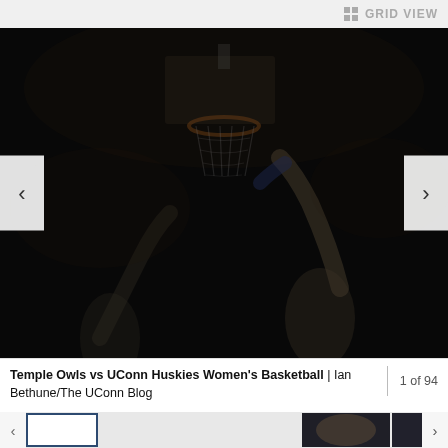GRID VIEW
[Figure (photo): Dark basketball game photo showing a player dunking near the hoop with arms extended, shot in a dark arena. Temple Owls vs UConn Huskies Women's Basketball.]
Temple Owls vs UConn Huskies Women's Basketball | Ian Bethune/The UConn Blog
1 of 94
[Figure (photo): Thumbnail strip showing basketball game photos, with first thumbnail selected (outlined in dark blue) and two more thumbnails visible on right.]